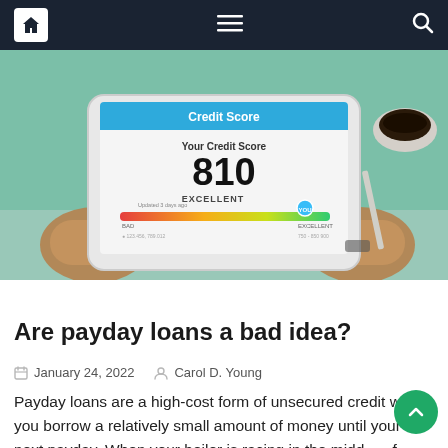Navigation bar with home, menu, and search icons
[Figure (photo): Person holding a tablet displaying a Credit Score app showing score of 810 EXCELLENT with a color gradient bar from red to green]
Indian Bank
Are payday loans a bad idea?
January 24, 2022   Carol D. Young
Payday loans are a high-cost form of unsecured credit where you borrow a relatively small amount of money until your next payday. When your boiler is racing in the middle of winter or your car breaks down and you have no savings, a